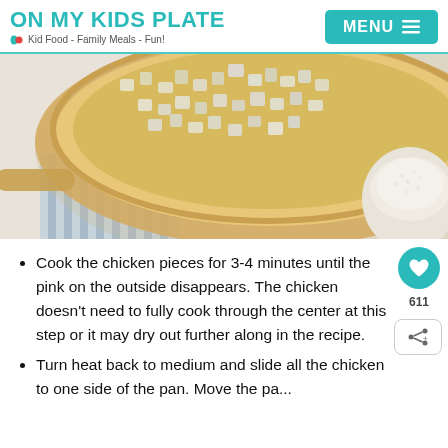ON MY KIDS PLATE — Kid Food - Family Meals - Fun!
[Figure (photo): Overhead view of a pan with diced onions/vegetables cooking, with a striped cloth and a bowl of rice visible to the side.]
Cook the chicken pieces for 3-4 minutes until the pink on the outside disappears. The chicken doesn't need to fully cook through the center at this step or it may dry out further along in the recipe.
Turn heat back to medium and slide all the chicken to one side of the pan. Move the pa...